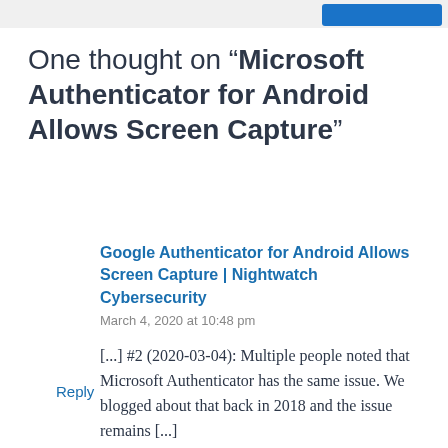One thought on “Microsoft Authenticator for Android Allows Screen Capture”
Google Authenticator for Android Allows Screen Capture | Nightwatch Cybersecurity
March 4, 2020 at 10:48 pm
[...] #2 (2020-03-04): Multiple people noted that Microsoft Authenticator has the same issue. We blogged about that back in 2018 and the issue remains [...]
Reply